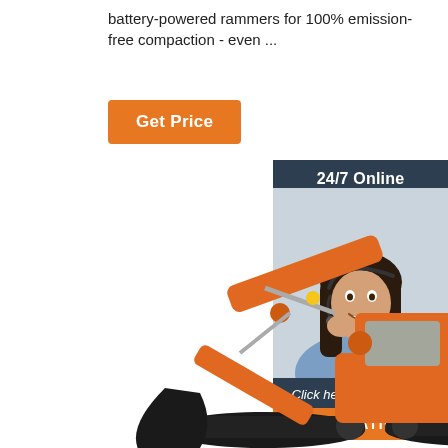battery-powered rammers for 100% emission-free compaction - even ...
Get Price
[Figure (infographic): Sidebar widget with '24/7 Online' header, photo of a smiling woman with headset, 'Click here for free chat!' text, and an orange QUOTATION button. Background is dark blue-grey.]
[Figure (photo): Orange tracked excavator (crawler excavator) with extended boom and bucket arm, shown on white background. Unit labeled LTR22-1.]